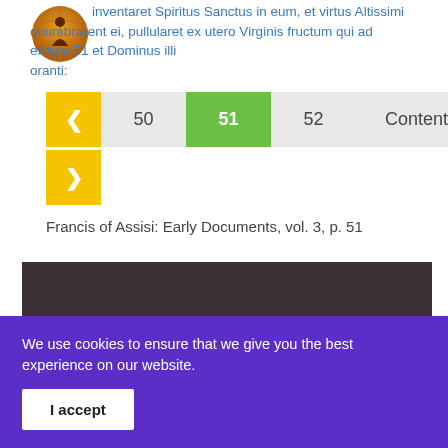[Figure (logo): Circular logo with a figure/person silhouette on a golden/brown globe background]
inventaret Spiritus Sanctus in eum, et virtus Altissimi obumbrarent ei, pullularet ex utero Virginis fructum qui ad exitum 51 et Dominus illi oranti:
[Figure (other): Navigation widget with back arrow (yellow), page numbers 50, 51 (green/active), 52, and Contents button, plus a forward arrow below]
Francis of Assisi: Early Documents, vol. 3, p. 51
[Figure (photo): Dark brown/maroon rectangular image area]
We use cookies to ensure that we give you the best experience on our website.